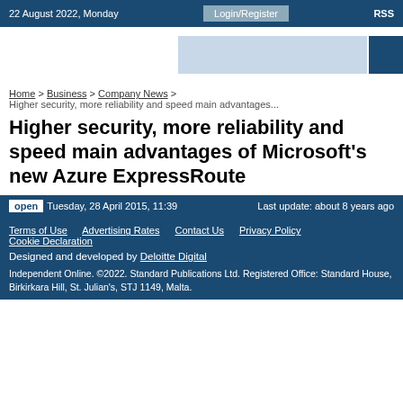22 August 2022, Monday   Login/Register   RSS
[Figure (other): Advertisement banner placeholder with light blue and dark blue blocks]
Home > Business > Company News > Higher security, more reliability and speed main advantages...
Higher security, more reliability and speed main advantages of Microsoft's new Azure ExpressRoute
open   Tuesday, 28 April 2015, 11:39   Last update: about 8 years ago
Terms of Use   Advertising Rates   Contact Us   Privacy Policy   Cookie Declaration
Designed and developed by Deloitte Digital
Independent Online. ©2022. Standard Publications Ltd. Registered Office: Standard House, Birkirkara Hill, St. Julian's, STJ 1149, Malta.